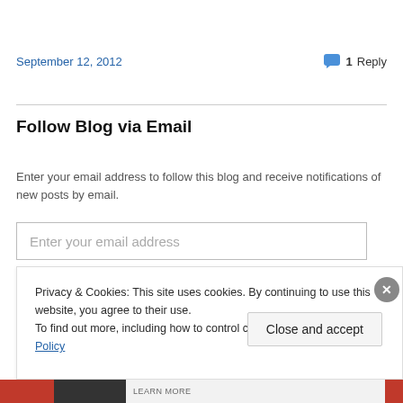September 12, 2012
1 Reply
Follow Blog via Email
Enter your email address to follow this blog and receive notifications of new posts by email.
Enter your email address
Privacy & Cookies: This site uses cookies. By continuing to use this website, you agree to their use.
To find out more, including how to control cookies, see here: Cookie Policy
Close and accept